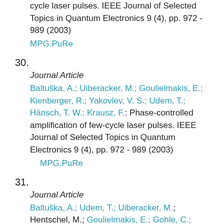cycle laser pulses. IEEE Journal of Selected Topics in Quantum Electronics 9 (4), pp. 972 - 989 (2003)
MPG.PuRe
30.
Journal Article
Baltuška, A.; Uiberacker, M.; Goulielmakis, E.; Kienberger, R.; Yakovlev, V. S.; Udem, T.; Hänsch, T. W.; Krausz, F.: Phase-controlled amplification of few-cycle laser pulses. IEEE Journal of Selected Topics in Quantum Electronics 9 (4), pp. 972 - 989 (2003)
MPG.PuRe
31.
Journal Article
Baltuška, A.; Udem, T.; Uiberacker, M.; Hentschel, M.; Goulielmakis, E.; Gohle, C.; Holzwarth, R.; Yakoviev, V. S.; Scrinzi, A.; Hänsch, T. W. et al.; Krausz, F.: Attosecond control of electronic processes by intense